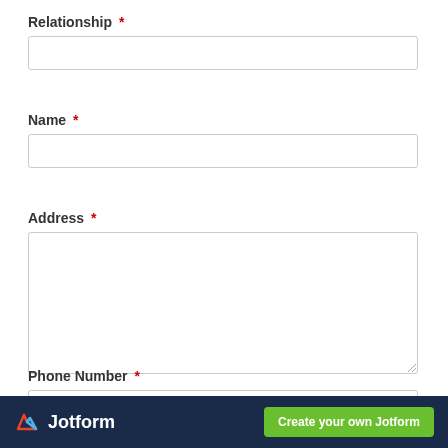Relationship *
Name *
Address *
Phone Number *
Jotform  Create your own Jotform